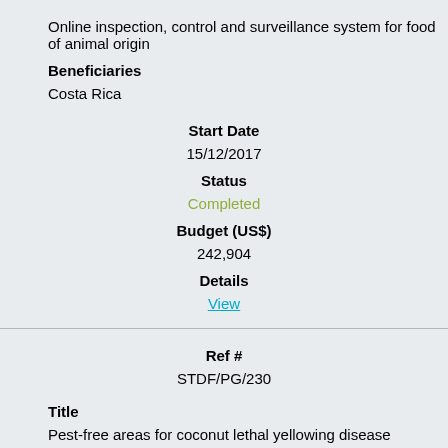Online inspection, control and surveillance system for food of animal origin
Beneficiaries
Costa Rica
Start Date
15/12/2017
Status
Completed
Budget (US$)
242,904
Details
View
Ref #
STDF/PG/230
Title
Pest-free areas for coconut lethal yellowing disease
Beneficiaries
Mozambique